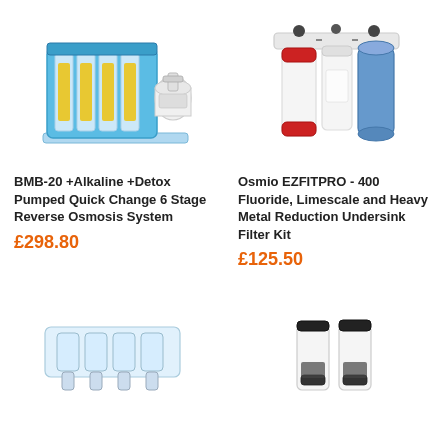[Figure (photo): BMB-20 reverse osmosis system with blue transparent housing showing yellow filter cartridges and a white pressure tank]
BMB-20 +Alkaline +Detox Pumped Quick Change 6 Stage Reverse Osmosis System
£298.80
[Figure (photo): Osmio EZFITPRO-400 undersink filter kit with three filter cartridges in white, red-capped and blue housings]
Osmio EZFITPRO - 400 Fluoride, Limescale and Heavy Metal Reduction Undersink Filter Kit
£125.50
[Figure (photo): Clear plastic filter housing bracket/manifold partially visible at bottom of page]
[Figure (photo): Two white cylindrical filter cartridges with black caps, partially visible at bottom of page]